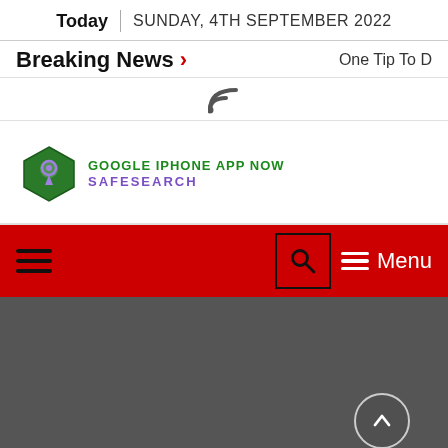Today | SUNDAY, 4TH SEPTEMBER 2022
Breaking News > One Tip To D
[Figure (logo): Google iPhone App Now SafeSearch logo with hexagon icon]
[Figure (other): Navigation bar with hamburger menu, search icon, and Menu button on red background]
[Figure (other): Dark gray content area with scroll-to-top circular button]